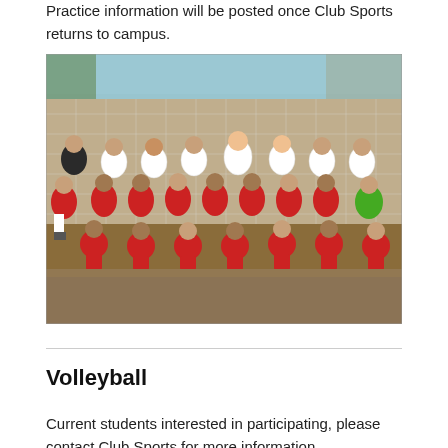Practice information will be posted once Club Sports returns to campus.
[Figure (photo): Group photo of a soccer team in red and white jerseys posed on a grass field in front of a goal net. Players are arranged in three rows.]
Volleyball
Current students interested in participating, please contact Club Sports for more information.